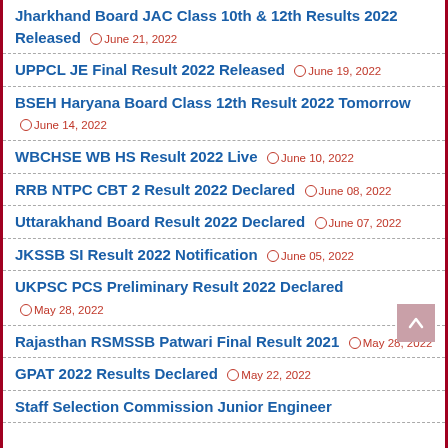Jharkhand Board JAC Class 10th & 12th Results 2022 Released  June 21, 2022
UPPCL JE Final Result 2022 Released  June 19, 2022
BSEH Haryana Board Class 12th Result 2022 Tomorrow  June 14, 2022
WBCHSE WB HS Result 2022 Live  June 10, 2022
RRB NTPC CBT 2 Result 2022 Declared  June 08, 2022
Uttarakhand Board Result 2022 Declared  June 07, 2022
JKSSB SI Result 2022 Notification  June 05, 2022
UKPSC PCS Preliminary Result 2022 Declared  May 28, 2022
Rajasthan RSMSSB Patwari Final Result 2021  May 28, 2022
GPAT 2022 Results Declared  May 22, 2022
Staff Selection Commission Junior Engineer